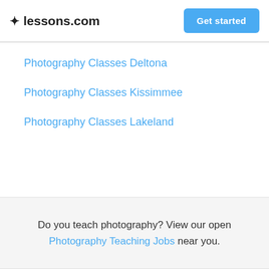lessons.com  Get started
Photography Classes Deltona
Photography Classes Kissimmee
Photography Classes Lakeland
Do you teach photography? View our open Photography Teaching Jobs near you.